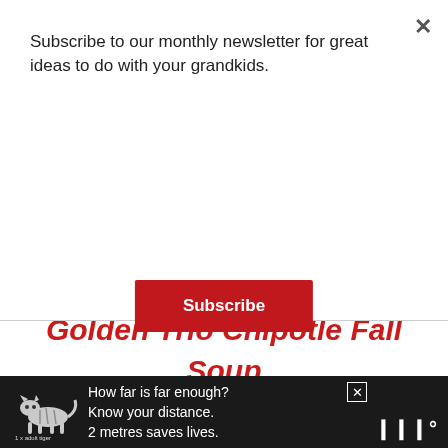Subscribe to our monthly newsletter for great ideas to do with your grandkids.
Subscribe
[Figure (photo): Close-up of autumn squash or pumpkin with dark green and orange tones — food photography for a fall soup recipe]
Golden Trio Chipotle Fall Soup From Healthy. Happy. Life
[Figure (infographic): Advertisement banner: dark background with tiger illustration and text 'How far is far enough? Know your distance. 2 metres saves lives. 1 x adult tiger']